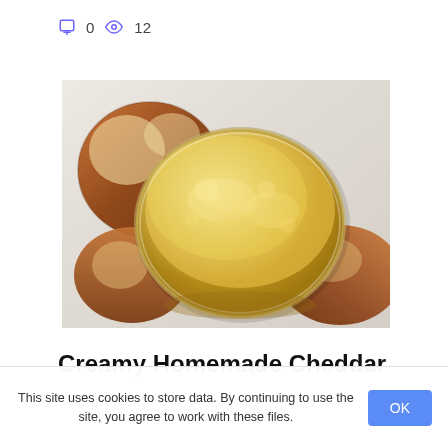0  12
[Figure (photo): A glass bowl of creamy cheddar cheese sauce surrounded by soft pretzel rolls on a white cloth background.]
Creamy Homemade Cheddar Cheese Sauce
This site uses cookies to store data. By continuing to use the site, you agree to work with these files.